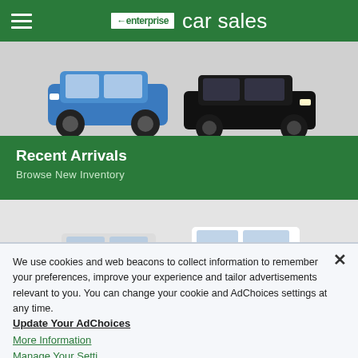enterprise car sales
[Figure (photo): Two cars - a blue Ford Explorer SUV and a black sedan parked side by side]
Recent Arrivals
Browse New Inventory
[Figure (photo): Two white sedans - a silver/white Ford Fusion and a white Chevrolet Malibu parked side by side]
We use cookies and web beacons to collect information to remember your preferences, improve your experience and tailor advertisements relevant to you. You can change your cookie and AdChoices settings at any time.
Update Your AdChoices
More Information
Manage Your Settings